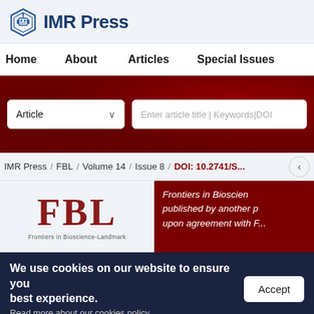IMR Press
Home   About   Articles   Special Issues
[Figure (screenshot): Search interface with Article dropdown and keyword/DOI input field on dark red hero background]
IMR Press / FBL / Volume 14 / Issue 8 / DOI: 10.2741/...
[Figure (logo): FBL Frontiers in Bioscience-Landmark journal logo]
Frontiers in Bioscience published by another publisher upon agreement with...
We use cookies on our website to ensure you best experience.
Read more about our cookies policy